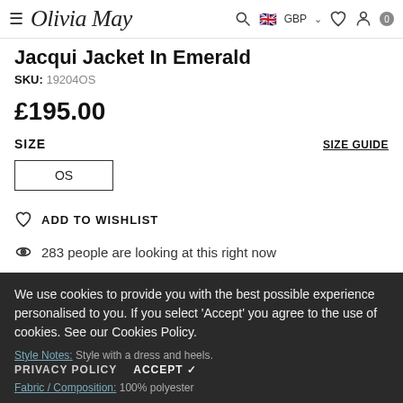≡ Olivia May | 🔍 GBP ∨ ♡ 👤 0
Jacqui Jacket In Emerald
SKU: 19204OS
£195.00
SIZE
SIZE GUIDE
OS
ADD TO WISHLIST
283 people are looking at this right now
PRODUCT DETAILS
We use cookies to provide you with the best possible experience personalised to you. If you select 'Accept' you agree to the use of cookies. See our Cookies Policy.
Style Notes: Style with a dress and heels.
PRIVACY POLICY   ACCEPT ✓
Fabric / Composition: 100% polyester